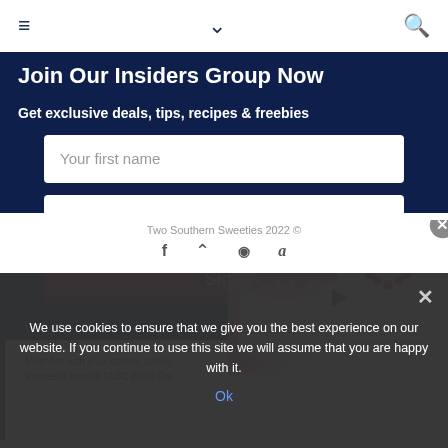≡  ∨  🔍
Join Our Insiders Group Now
Get exclusive deals, tips, recipes & freebies
Your first name
Your email address
Sign
[Figure (screenshot): Video overlay showing two cake decorating images side by side with a play button in the center and a close button in the top right]
Meet her with your school, schoo... Proceeds benefit TABC Book Dro...
Two Southern Sweeties 2022 ©
We use cookies to ensure that we give you the best experience on our website. If you continue to use this site we will assume that you are happy with it.
Ok